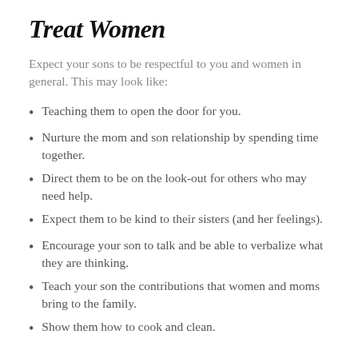Treat Women
Expect your sons to be respectful to you and women in general. This may look like:
Teaching them to open the door for you.
Nurture the mom and son relationship by spending time together.
Direct them to be on the look-out for others who may need help.
Expect them to be kind to their sisters (and her feelings).
Encourage your son to talk and be able to verbalize what they are thinking.
Teach your son the contributions that women and moms bring to the family.
Show them how to cook and clean.